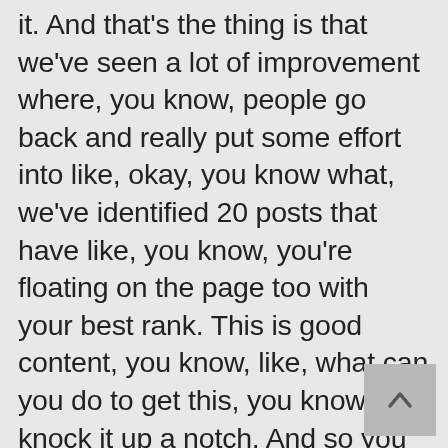it. And that's the thing is that we've seen a lot of improvement where, you know, people go back and really put some effort into like, okay, you know what, we've identified 20 posts that have like, you know, you're floating on the page too with your best rank. This is good content, you know, like, what can you do to get this, you know, knock it up a notch. And so you know, we've seen bloggers and businesses have really good success going back and updating stuff. So that's, you know, that's a really great strategy at this point, especially seeing as how much stuff has changed. And yeah, like there's tons. I mean the one, I'm like I said the one I'm doing this afternoon, I